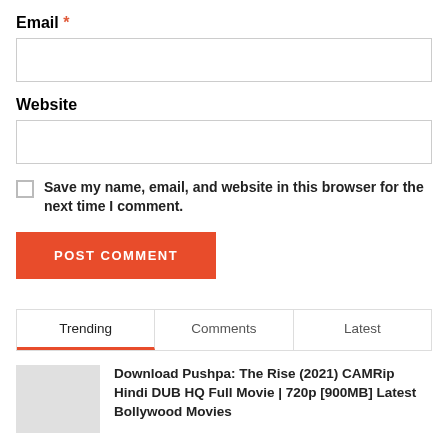Email *
Website
Save my name, email, and website in this browser for the next time I comment.
POST COMMENT
Trending | Comments | Latest
Download Pushpa: The Rise (2021) CAMRip Hindi DUB HQ Full Movie | 720p [900MB] Latest Bollywood Movies